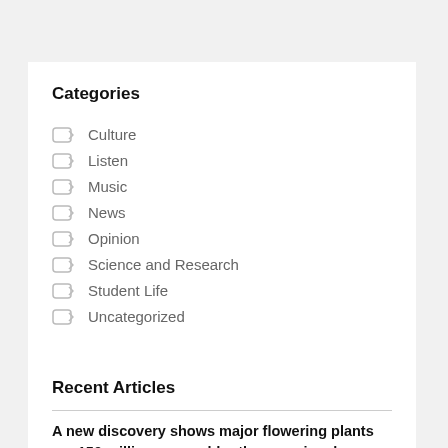Categories
Culture
Listen
Music
News
Opinion
Science and Research
Student Life
Uncategorized
Recent Articles
A new discovery shows major flowering plants are 150 million years older than previously thought